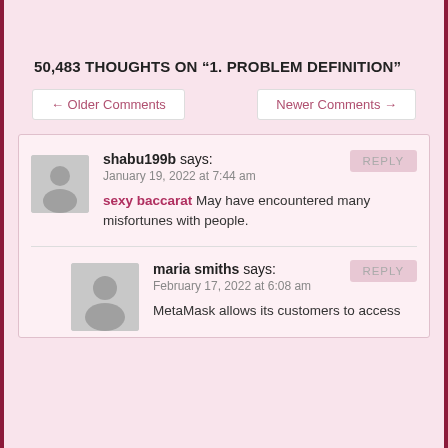50,483 THOUGHTS ON “1. PROBLEM DEFINITION”
← Older Comments
Newer Comments →
shabu199b says:
January 19, 2022 at 7:44 am
sexy baccarat May have encountered many misfortunes with people.
maria smiths says:
February 17, 2022 at 6:08 am
MetaMask allows its customers to access